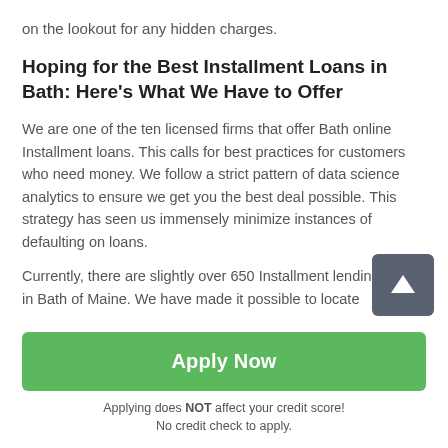on the lookout for any hidden charges.
Hoping for the Best Installment Loans in Bath: Here's What We Have to Offer
We are one of the ten licensed firms that offer Bath online Installment loans. This calls for best practices for customers who need money. We follow a strict pattern of data science analytics to ensure we get you the best deal possible. This strategy has seen us immensely minimize instances of defaulting on loans.
Currently, there are slightly over 650 Installment lending stores in Bath of Maine. We have made it possible to locate
[Figure (other): Scroll-to-top button: dark grey rounded square with white upward arrow]
Apply Now
Applying does NOT affect your credit score!
No credit check to apply.